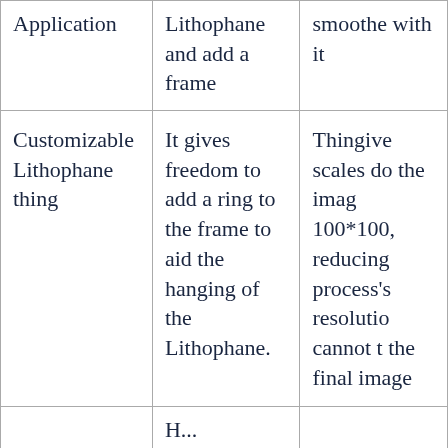| Application | Lithophane and add a frame | smoothe with it |
| Customizable Lithophane thing | It gives freedom to add a ring to the frame to aid the hanging of the Lithophane. | Thingive scales do the imag 100*100, reducing process's resolutio cannot t the final image |
|  | H... |  |